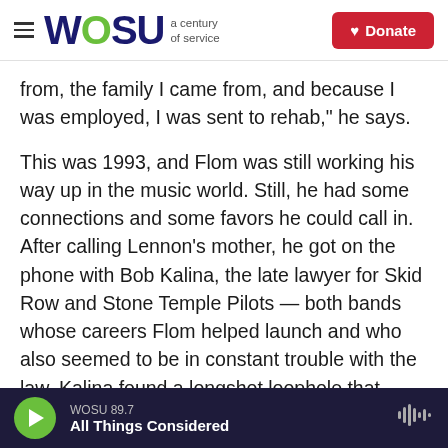WOSU a century of service | Donate
from, the family I came from, and because I was employed, I was sent to rehab," he says.
This was 1993, and Flom was still working his way up in the music world. Still, he had some connections and some favors he could call in. After calling Lennon's mother, he got on the phone with Bob Kalina, the late lawyer for Skid Row and Stone Temple Pilots — both bands whose careers Flom helped launch and who also seemed to be in constant trouble with the law. Kalina found a longshot loophole that eventually led to Flom, Kalina and Lennon's family sitting in a courtroom. A
WOSU 89.7 | All Things Considered